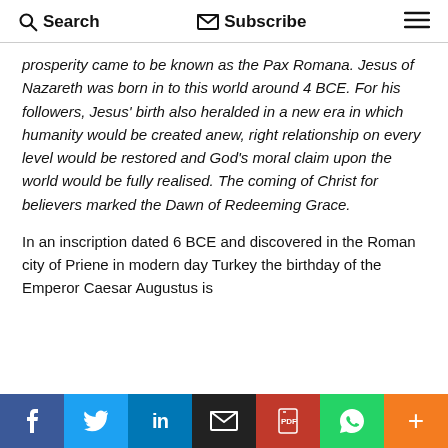Search  Subscribe  ☰
prosperity came to be known as the Pax Romana. Jesus of Nazareth was born in to this world around 4 BCE. For his followers, Jesus' birth also heralded in a new era in which humanity would be created anew, right relationship on every level would be restored and God's moral claim upon the world would be fully realised. The coming of Christ for believers marked the Dawn of Redeeming Grace.
In an inscription dated 6 BCE and discovered in the Roman city of Priene in modern day Turkey the birthday of the Emperor Caesar Augustus is